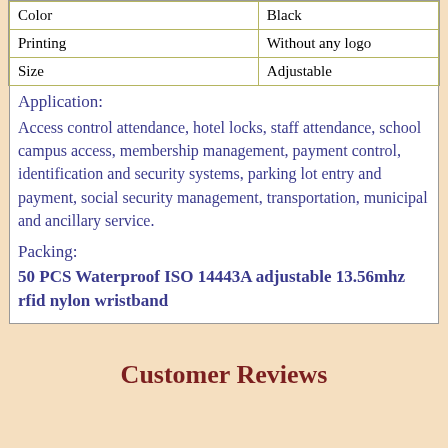|  |  |
| --- | --- |
| Color | Black |
| Printing | Without any logo |
| Size | Adjustable |
Application:
Access control attendance, hotel locks, staff attendance, school campus access, membership management, payment control, identification and security systems, parking lot entry and payment, social security management, transportation, municipal and ancillary service.
Packing:
50 PCS Waterproof  ISO 14443A adjustable 13.56mhz rfid nylon wristband
Customer Reviews